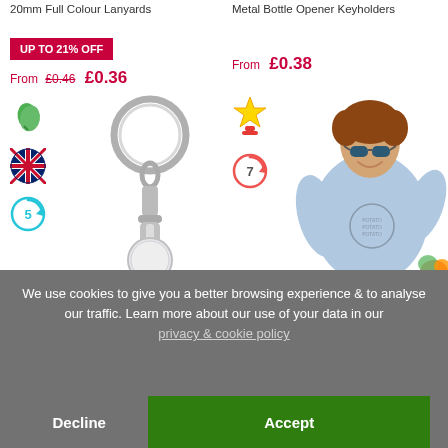20mm Full Colour Lanyards
Metal Bottle Opener Keyholders
UP TO 21% OFF
From £0.46 £0.36
From £0.38
[Figure (photo): Metal key ring with swivel clip and round disc, plus eco/UK-made/5-day icons]
[Figure (photo): Man in light blue t-shirt with sunglasses, Fruitloom logo, star award and 7-day icon]
We use cookies to give you a better browsing experience & to analyse our traffic. Learn more about our use of your data in our privacy & cookie policy
Decline
Accept